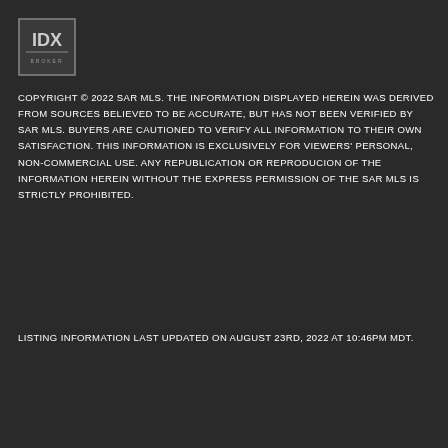[Figure (logo): IDX logo — square box with 'IDX' text and 'BROKER' subtext below]
COPYRIGHT © 2022 SAR MLS. THE INFORMATION DISPLAYED HEREIN WAS DERIVED FROM SOURCES BELIEVED TO BE ACCURATE, BUT HAS NOT BEEN VERIFIED BY SAR MLS. BUYERS ARE CAUTIONED TO VERIFY ALL INFORMATION TO THEIR OWN SATISFACTION. THIS INFORMATION IS EXCLUSIVELY FOR VIEWERS' PERSONAL, NON-COMMERCIAL USE. ANY REPUBLICATION OR REPRODUCION OF THE INFORMATION HEREIN WITHOUT THE EXPRESS PERMISSION OF THE SAR MLS IS STRICTLY PROHIBITED.
LISTING INFORMATION LAST UPDATED ON AUGUST 23RD, 2022 AT 10:46PM MDT.